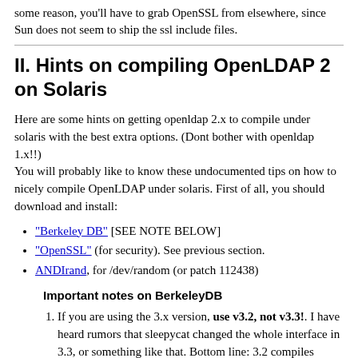some reason, you'll have to grab OpenSSL from elsewhere, since Sun does not seem to ship the ssl include files.
II. Hints on compiling OpenLDAP 2 on Solaris
Here are some hints on getting openldap 2.x to compile under solaris with the best extra options. (Dont bother with openldap 1.x!!)
You will probably like to know these undocumented tips on how to nicely compile OpenLDAP under solaris. First of all, you should download and install:
"Berkeley DB" [SEE NOTE BELOW]
"OpenSSL" (for security). See previous section.
ANDIrand, for /dev/random (or patch 112438)
Important notes on BerkeleyDB
If you are using the 3.x version, use v3.2, not v3.3!. I have heard rumors that sleepycat changed the whole interface in 3.3, or something like that. Bottom line: 3.2 compiles